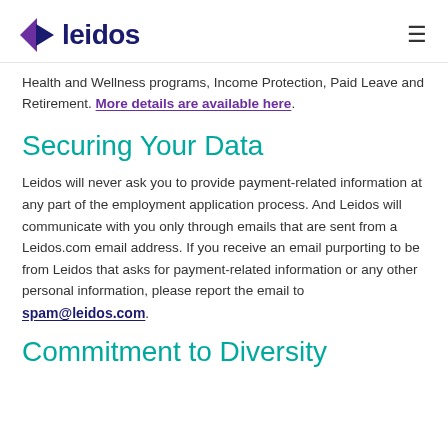leidos
Health and Wellness programs, Income Protection, Paid Leave and Retirement. More details are available here.
Securing Your Data
Leidos will never ask you to provide payment-related information at any part of the employment application process. And Leidos will communicate with you only through emails that are sent from a Leidos.com email address. If you receive an email purporting to be from Leidos that asks for payment-related information or any other personal information, please report the email to spam@leidos.com.
Commitment to Diversity